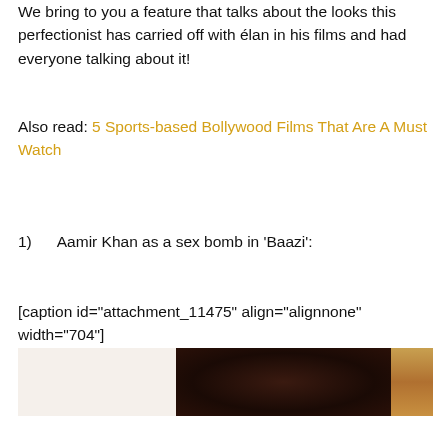We bring to you a feature that talks about the looks this perfectionist has carried off with élan in his films and had everyone talking about it!
Also read: 5 Sports-based Bollywood Films That Are A Must Watch
1)      Aamir Khan as a sex bomb in ‘Baazi’:
[caption id="attachment_11475" align="alignnone" width="704"]
[Figure (photo): Partial photo showing dark reddish-brown tones, likely a still from a Bollywood film.]